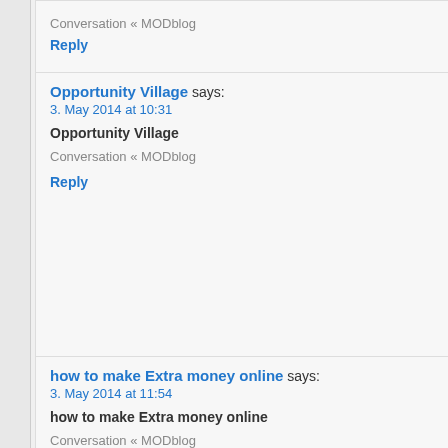Conversation « MODblog
Reply
Opportunity Village says:
3. May 2014 at 10:31
Opportunity Village
Conversation « MODblog
Reply
how to make Extra money online says:
3. May 2014 at 11:54
how to make Extra money online
Conversation « MODblog
Reply
chaturbate tokens hack online says:
3. May 2014 at 14:07
chaturbate tokens hack online
Conversation « MODblog
Reply